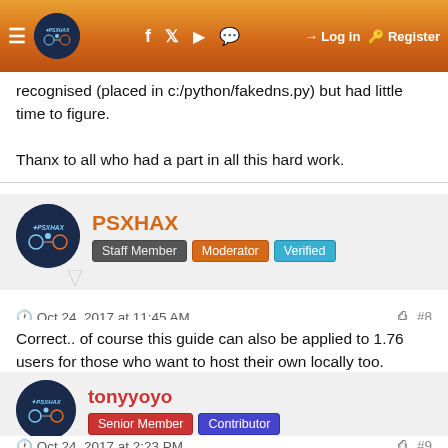PSXHAX | Log in | Register
recognised (placed in c:/python/fakedns.py) but had little time to figure.

Thanx to all who had a part in all this hard work.
PSXHAX
Staff Member | Moderator | Verified
Oct 24, 2017 at 11:45 AM  #8
Correct.. of course this guide can also be applied to 1.76 users for those who want to host their own locally too.
tonyyoyo
Senior Member | Contributor
Oct 24, 2017 at 2:23 PM  #9
Can someone do a guide for Linux? not everyone is on